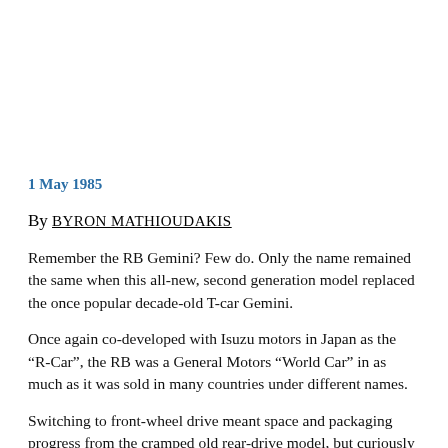1 May 1985
By BYRON MATHIOUDAKIS
Remember the RB Gemini? Few do. Only the name remained the same when this all-new, second generation model replaced the once popular decade-old T-car Gemini.
Once again co-developed with Isuzu motors in Japan as the “R-Car”, the RB was a General Motors “World Car” in as much as it was sold in many countries under different names.
Switching to front-wheel drive meant space and packaging progress from the cramped old rear-drive model, but curiously there was no five-door hatchback – vital for success in Australia’s small-car segment during the 1980s just a dumpy four-door sedan.